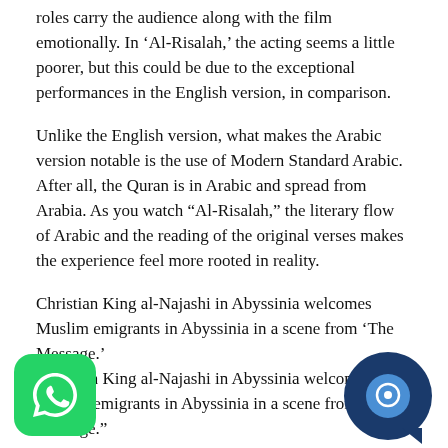roles carry the audience along with the film emotionally. In ‘Al-Risalah,’ the acting seems a little poorer, but this could be due to the exceptional performances in the English version, in comparison.
Unlike the English version, what makes the Arabic version notable is the use of Modern Standard Arabic. After all, the Quran is in Arabic and spread from Arabia. As you watch “Al-Risalah,” the literary flow of Arabic and the reading of the original verses makes the experience feel more rooted in reality.
Christian King al-Najashi in Abyssinia welcomes Muslim emigrants in Abyssinia in a scene from ‘The Message.’
Christian King al-Najashi in Abyssinia welcomes Muslim emigrants in Abyssinia in a scene from “The Message.”
The most striking shortcoming in the film’s overall script is the character development of those who later convert to Islam, whose descriptions do not do them justice and are misrepresented as evil figures. For instance, the character of Hind, played by Pap… y becomes Muslim after the conquest of Mecca i… n influences many women in Mecca to convert to M… Unfinished roles like Hind lead to a bias against real historical